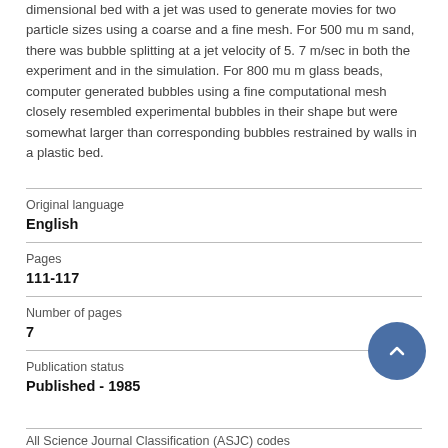dimensional bed with a jet was used to generate movies for two particle sizes using a coarse and a fine mesh. For 500 mu m sand, there was bubble splitting at a jet velocity of 5. 7 m/sec in both the experiment and in the simulation. For 800 mu m glass beads, computer generated bubbles using a fine computational mesh closely resembled experimental bubbles in their shape but were somewhat larger than corresponding bubbles restrained by walls in a plastic bed.
| Original language | English |
| Pages | 111-117 |
| Number of pages | 7 |
| Publication status | Published - 1985 |
All Science Journal Classification (ASJC) codes